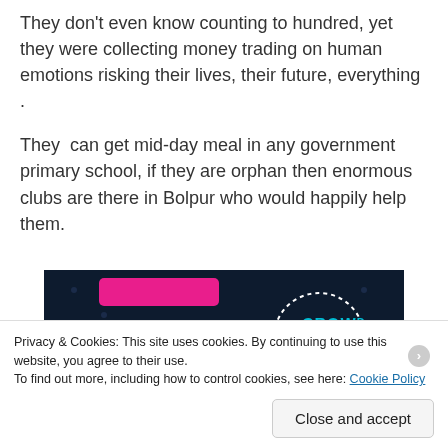They don't even know counting to hundred, yet they were collecting money trading on human emotions risking their lives, their future, everything .
They  can get mid-day meal in any government primary school, if they are orphan then enormous clubs are there in Bolpur who would happily help them.
[Figure (other): Dark navy advertisement banner with a dotted circle logo showing 'CROWD' text in cyan, and a pink/red button at the top left.]
Privacy & Cookies: This site uses cookies. By continuing to use this website, you agree to their use.
To find out more, including how to control cookies, see here: Cookie Policy
Close and accept